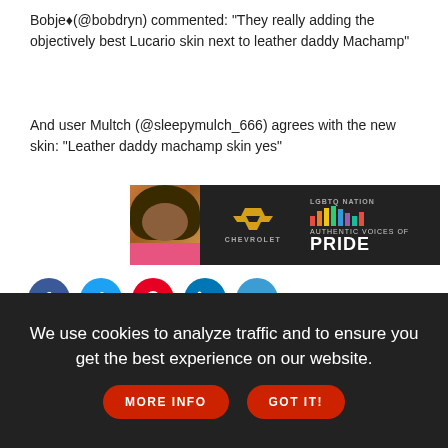Bobje♦(@bobdryn) commented: "They really adding the objectively best Lucario skin next to leather daddy Machamp"
And user Multch (@sleepymulch_666) agrees with the new skin: "Leather daddy machamp skin yes"
[Figure (infographic): Advertisement banner for Chevrolet and LGBTQ Nation - Authentic Voices of Pride, featuring a woman with curly hair and colorful audio waveform bars]
[Figure (infographic): Social media share icons: Facebook, Twitter, Pinterest, LinkedIn, Email]
INSIDE   ALSO IN TECHNOLOGY   ×
We use cookies to analyze traffic and to ensure you get the best experience on our website.